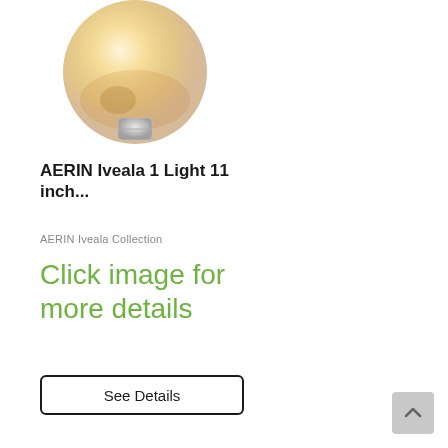[Figure (photo): A wall sconce lamp with a round frosted amber/cream glass globe shade mounted on a cylindrical brushed nickel wall mount bracket]
AERIN Iveala 1 Light 11 inch...
AERIN Iveala Collection
Click image for more details
See Details